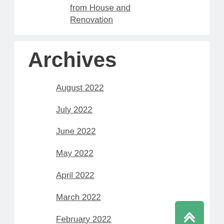from House and Renovation
Archives
August 2022
July 2022
June 2022
May 2022
April 2022
March 2022
February 2022